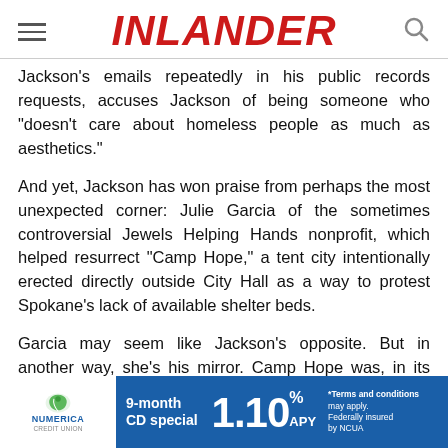INLANDER
Jackson's emails repeatedly in his public records requests, accuses Jackson of being someone who "doesn't care about homeless people as much as aesthetics."
And yet, Jackson has won praise from perhaps the most unexpected corner: Julie Garcia of the sometimes controversial Jewels Helping Hands nonprofit, which helped resurrect "Camp Hope," a tent city intentionally erected directly outside City Hall as a way to protest Spokane's lack of available shelter beds.
Garcia may seem like Jackson's opposite. But in another way, she's his mirror. Camp Hope was, in its own way, a way to deliver the same flavor of message that Jackson did: that the city had failed to adequately address homelessness.
[Figure (other): Numerica Credit Union advertisement banner: 9-month CD special 1.10% APY. Terms and conditions may apply. Federally insured by NCUA.]